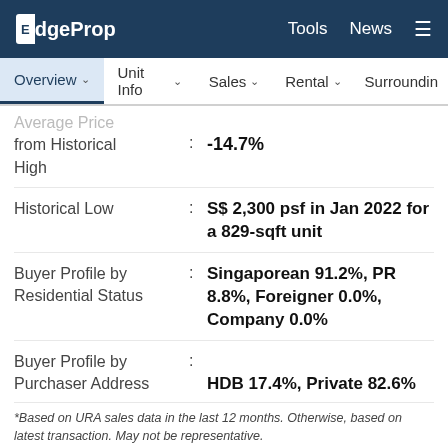EdgeProp   Tools  News
Overview  Unit Info  Sales  Rental  Surroundin
Average Price from Historical High : -14.7%
Historical Low : S$ 2,300 psf in Jan 2022 for a 829-sqft unit
Buyer Profile by Residential Status : Singaporean 91.2%, PR 8.8%, Foreigner 0.0%, Company 0.0%
Buyer Profile by Purchaser Address : HDB 17.4%, Private 82.6%
*Based on URA sales data in the last 12 months. Otherwise, based on latest transaction. May not be representative.
**Based on URA rental data in the last 12 months.